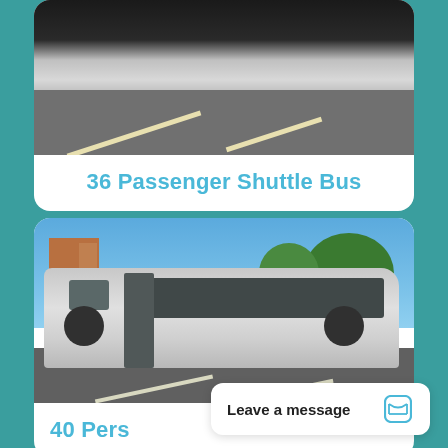[Figure (photo): Bottom portion of a silver passenger shuttle bus or limousine, showing the lower body, wheels, and parking lot pavement with white line markings]
36 Passenger Shuttle Bus
[Figure (photo): A large silver 40-passenger coach bus parked in a parking lot, with a brick building and trees visible in the background under a clear blue sky]
40 Pers
Leave a message